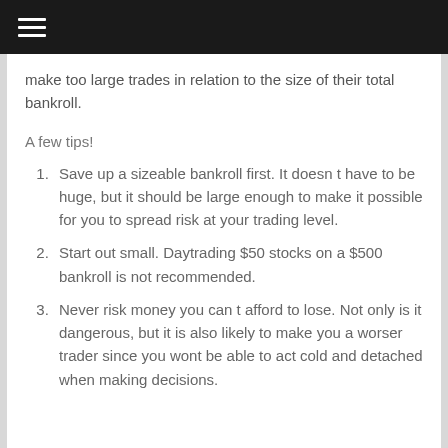make too large trades in relation to the size of their total bankroll.
A few tips!
Save up a sizeable bankroll first. It doesn t have to be huge, but it should be large enough to make it possible for you to spread risk at your trading level.
Start out small. Daytrading $50 stocks on a $500 bankroll is not recommended.
Never risk money you can t afford to lose. Not only is it dangerous, but it is also likely to make you a worser trader since you wont be able to act cold and detached when making decisions.